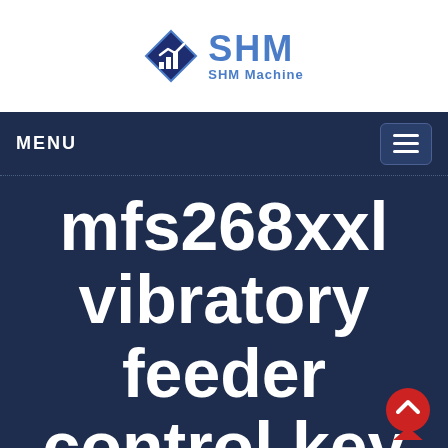[Figure (logo): SHM Machine logo with blue diamond shape containing building/chart icon and SHM text in blue]
MENU
mfs268xxl vibratory feeder control key technology